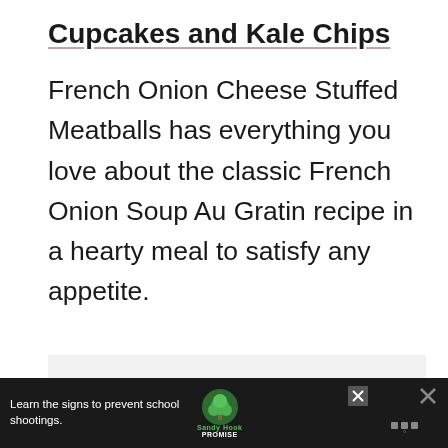Cupcakes and Kale Chips
French Onion Cheese Stuffed Meatballs has everything you love about the classic French Onion Soup Au Gratin recipe in a hearty meal to satisfy any appetite.
[Figure (other): Light gray placeholder box for a recipe image]
Learn the signs to prevent school shootings. Sandy Hook PROMISE [advertisement banner]